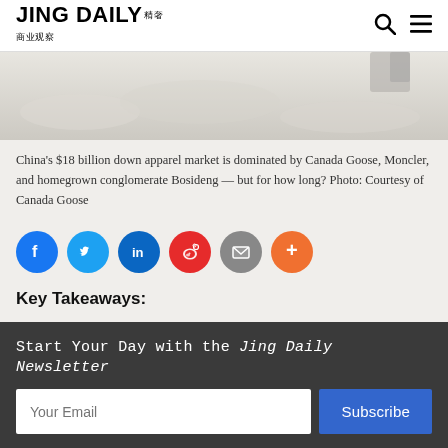JING DAILY 精奢
[Figure (photo): Bottom portion of a photo showing Canada Goose down apparel in a snowy setting]
China's $18 billion down apparel market is dominated by Canada Goose, Moncler, and homegrown conglomerate Bosideng — but for how long? Photo: Courtesy of Canada Goose
[Figure (infographic): Social share buttons: Facebook, Twitter, LinkedIn, Weibo, Email, More]
Key Takeaways:
Start Your Day with the Jing Daily Newsletter
Your Email | Subscribe